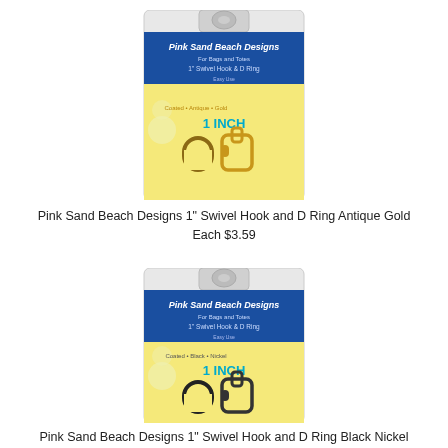[Figure (photo): Product photo of Pink Sand Beach Designs 1 inch Swivel Hook and D Ring Antique Gold packaging, showing the blister card with yellow floral background and two gold-tone metal hardware pieces.]
Pink Sand Beach Designs 1" Swivel Hook and D Ring Antique Gold Each $3.59
[Figure (photo): Product photo of Pink Sand Beach Designs 1 inch Swivel Hook and D Ring Black Nickel packaging, showing the blister card with yellow floral background and two black-tone metal hardware pieces.]
Pink Sand Beach Designs 1" Swivel Hook and D Ring Black Nickel